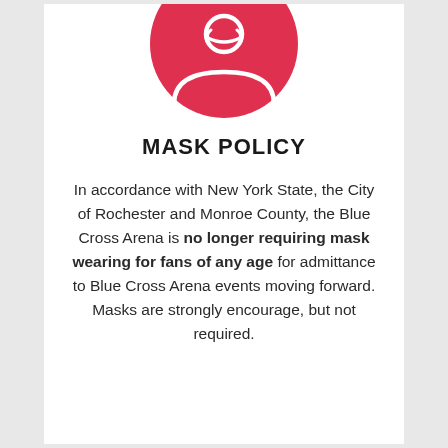[Figure (illustration): Red circle icon with a white person/face wearing a mask silhouette]
MASK POLICY
In accordance with New York State, the City of Rochester and Monroe County, the Blue Cross Arena is no longer requiring mask wearing for fans of any age for admittance to Blue Cross Arena events moving forward. Masks are strongly encourage, but not required.